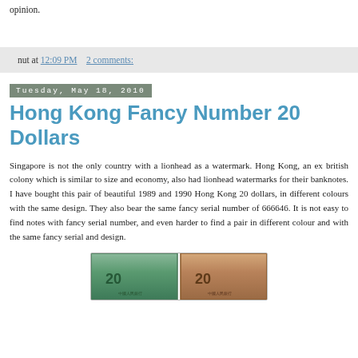opinion.
nut at 12:09 PM    2 comments:
Tuesday, May 18, 2010
Hong Kong Fancy Number 20 Dollars
Singapore is not the only country with a lionhead as a watermark. Hong Kong, an ex british colony which is similar to size and economy, also had lionhead watermarks for their banknotes. I have bought this pair of beautiful 1989 and 1990 Hong Kong 20 dollars, in different colours with the same design. They also bear the same fancy serial number of 666646. It is not easy to find notes with fancy serial number, and even harder to find a pair in different colour and with the same fancy serial and design.
[Figure (photo): Image of two Hong Kong 20 dollar banknotes side by side, partially visible at the bottom of the page.]